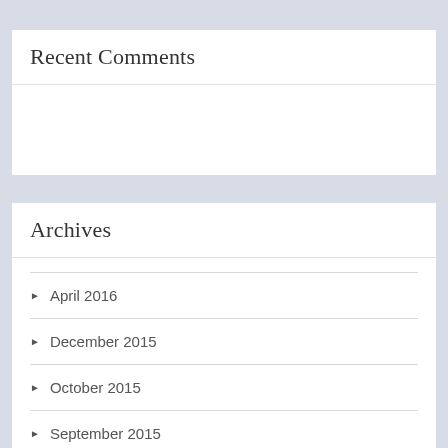Recent Comments
Archives
April 2016
December 2015
October 2015
September 2015
July 2015